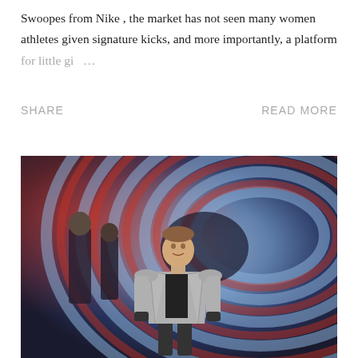Swoopes from Nike , the market has not seen many women athletes given signature kicks, and more importantly, a platform for little gi …
SHARE    READ MORE
[Figure (photo): A man wearing a grey blazer over a black shirt stands in the center foreground, walking out of a tunnel with swirling red and blue circular patterns in the background. Several other people are visible behind him in the dimly lit scene.]